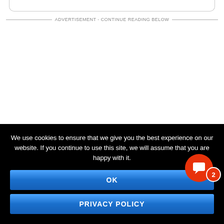ADVERTISEMENT - CONTINUE READING BELOW
We use cookies to ensure that we give you the best experience on our website. If you continue to use this site, we will assume that you are happy with it.
OK
PRIVACY POLICY